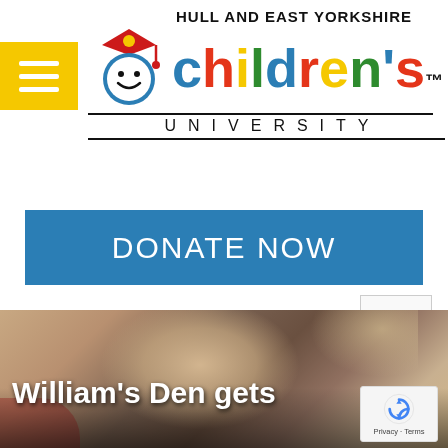[Figure (logo): Hull and East Yorkshire Children's University logo with colorful letters and smiley face graduation cap mascot]
[Figure (other): Blue 'DONATE NOW' button]
[Figure (photo): Close-up photo of a young blonde child's face, blurred background]
William's Den gets